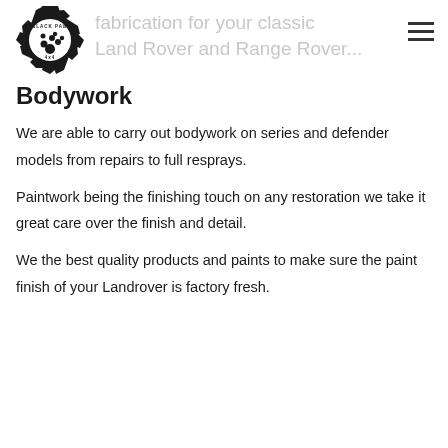fabrication for your classic Land Rover and Range Rover...
[Figure (logo): Black Paw 4x4 logo — gear wheel with handprint and text]
Bodywork
We are able to carry out bodywork on series and defender models from repairs to full resprays.
Paintwork being the finishing touch on any restoration we take it great care over the finish and detail.
We the best quality products and paints to make sure the paint finish of your Landrover is factory fresh.